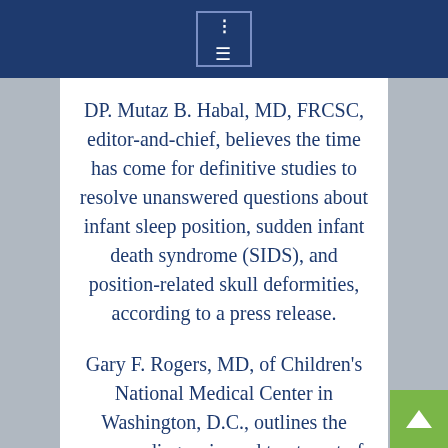DP. Mutaz B. Habal, MD, FRCSC, editor-and-chief, believes the time has come for definitive studies to resolve unanswered questions about infant sleep position, sudden infant death syndrome (SIDS), and position-related skull deformities, according to a press release.
Gary F. Rogers, MD, of Children’s National Medical Center in Washington, D.C., outlines the causes, diagnosis, and treatment of DP. Mild flattening may lend to no treatment or simple repositioning, while more severe cases may benefit from the use of a helmet